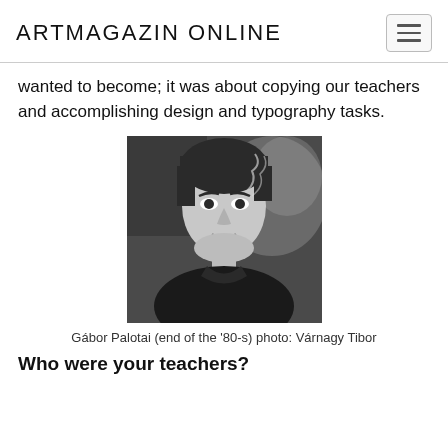ARTMAGAZIN ONLINE
wanted to become; it was about copying our teachers and accomplishing design and typography tasks.
[Figure (photo): Black and white portrait photograph of Gábor Palotai, taken at the end of the 1980s, photo by Várnagy Tibor. A young man with dark hair, wearing a dark jacket, with smoke visible in the image.]
Gábor Palotai (end of the '80-s) photo: Várnagy Tibor
Who were your teachers?